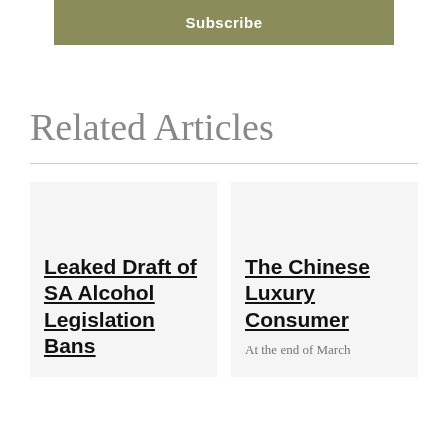Subscribe
Related Articles
Leaked Draft of SA Alcohol Legislation Bans
The Chinese Luxury Consumer
At the end of March